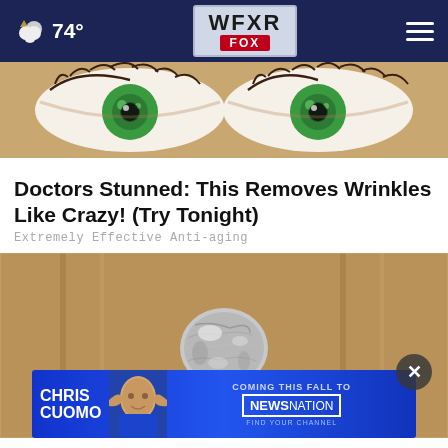74° WFXR FOX
[Figure (photo): Close-up illustration of wide cartoon eyes with green irises and dramatic lashes on a tan/brown background]
Doctors Stunned: This Removes Wrinkles Like Crazy! (Try Tonight)
Extremely Effective Anti-aging
[Figure (photo): Photo of a door knob wrapped in aluminum foil]
[Figure (screenshot): Advertisement banner: Chris Cuomo Coming This Fall to NewsNation - Find Your Channel]